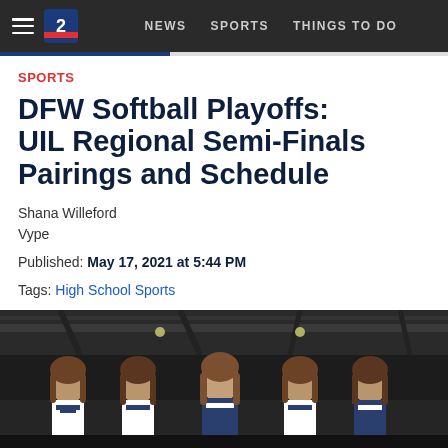NEWS  SPORTS  THINGS TO DO
SPORTS
DFW Softball Playoffs: UIL Regional Semi-Finals Pairings and Schedule
Shana Willeford
Vype
Published: May 17, 2021 at 5:44 PM
Tags: High School Sports
[Figure (photo): Five female softball players in navy and white uniforms standing in a row inside an athletic facility]